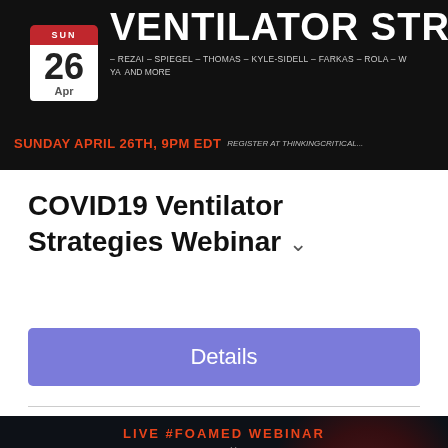[Figure (photo): Dark banner image showing 'VENTILATOR STRATEGY' text with speaker names. Shows a calendar date of Sunday April 26 and text 'SUNDAY APRIL 26TH, 9PM EDT REGISTER AT THINKINGCRITICAL...']
COVID19 Ventilator Strategies Webinar
Details
[Figure (photo): Dark promotional banner for 'LIVE #FOAMED WEBINAR Hosted by thinking critical care' about COVID-19 Respiratory Management with a physiological approach. Background shows coronavirus illustration.]